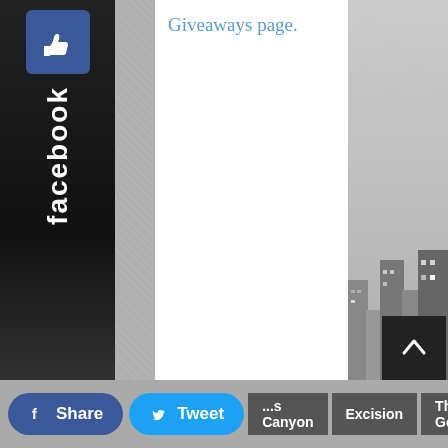[Figure (screenshot): Facebook like/widget button on left sidebar, black background with Facebook logo thumbs-up icon and 'facebook' text written vertically]
Giveaways page.
[Figure (screenshot): Grayscale cityscape background visible on right side of page]
[Figure (screenshot): Scroll-to-top arrow button, dark background with upward arrow]
Share  Tweet  ...s Canyon  Excision  The Gorge